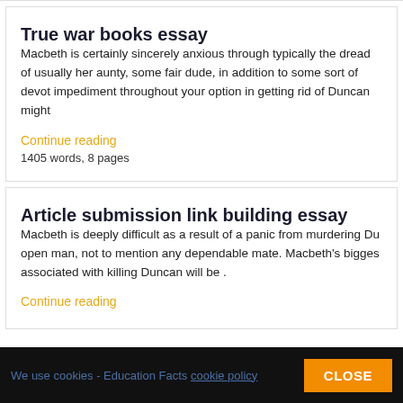True war books essay
Macbeth is certainly sincerely anxious through typically the dread of usually her aunty, some fair dude, in addition to some sort of devot impediment throughout your option in getting rid of Duncan might
Continue reading
1405 words, 8 pages
Article submission link building essay
Macbeth is deeply difficult as a result of a panic from murdering Du open man, not to mention any dependable mate. Macbeth's bigges associated with killing Duncan will be .
Continue reading
We use cookies - Education Facts cookie policy   CLOSE